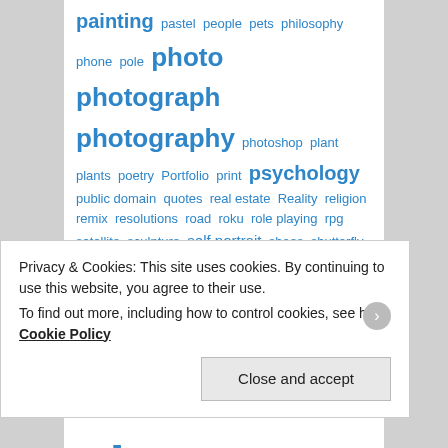painting pastel people pets philosophy phone pole photo photograph photography photoshop plant plants poetry Portfolio print psychology public domain quotes real estate Reality religion remix resolutions road roku role playing rpg satellite sculpture self portrait shoes shutterfly sign skeleton Sketch Book space speed drawing speed modeling spruce still life stock photo studio sword table tech terrain texture The 3d Studio the artist's way thomann
Privacy & Cookies: This site uses cookies. By continuing to use this website, you agree to their use. To find out more, including how to control cookies, see here: Cookie Policy
Close and accept